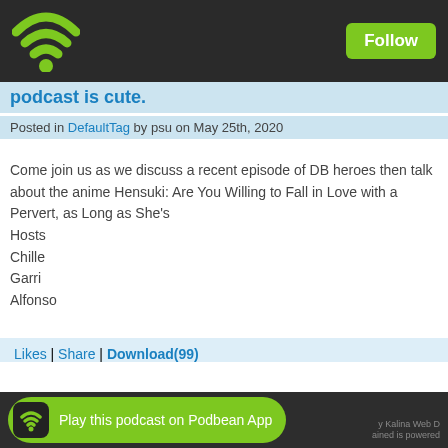Follow
podcast is cute.
Posted in DefaultTag by psu on May 25th, 2020
Come join us as we discuss a recent episode of DB heroes then talk about the anime Hensuki: Are You Willing to Fall in Love with a Pervert, as Long as She's
Hosts
Chille
Garri
Alfonso
Likes | Share | Download(99)
« Older episodes ·
Play this podcast on Podbean App